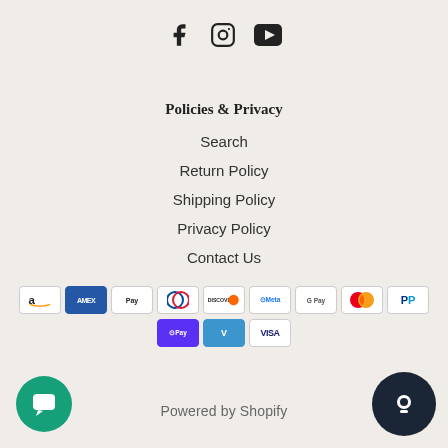[Figure (other): Social media icons: Facebook, Instagram, YouTube]
Policies & Privacy
Search
Return Policy
Shipping Policy
Privacy Policy
Contact Us
[Figure (other): Payment method icons: Amazon, Amex, Apple Pay, Diners Club, Discover, Meta Pay, Google Pay, Mastercard, PayPal, Shop Pay, Venmo, Visa]
Powered by Shopify